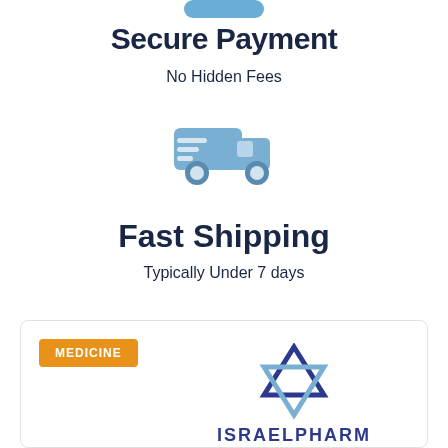[Figure (illustration): Blue rounded rectangle button at top]
Secure Payment
No Hidden Fees
[Figure (illustration): Blue delivery truck icon]
Fast Shipping
Typically Under 7 days
[Figure (logo): IsraelPharm logo with Star of David and text ISRAELPHARM, with MEDICINE orange badge]